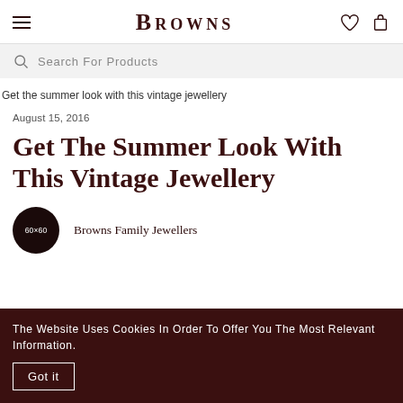BROWNS — navigation bar with hamburger menu, logo, heart icon, bag icon
Search For Products
[Figure (photo): Broken image placeholder with alt text: Get the summer look with this vintage jewellery]
August 15, 2016
Get The Summer Look With This Vintage Jewellery
Browns Family Jewellers
The Website Uses Cookies In Order To Offer You The Most Relevant Information. Got it